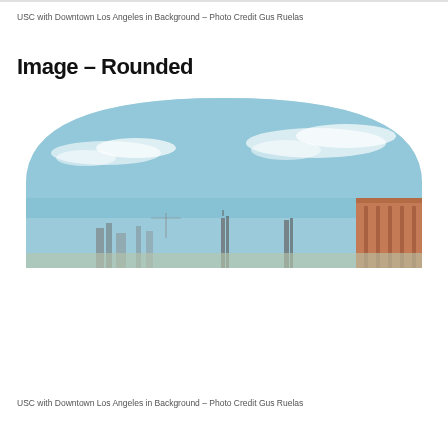USC with Downtown Los Angeles in Background – Photo Credit Gus Ruelas
Image – Rounded
[Figure (photo): A rounded (semicircle top) photo of USC with Downtown Los Angeles skyline in the background. The image shows a blue sky with light clouds and tops of buildings including a distinctive terracotta/brick building on the right.]
USC with Downtown Los Angeles in Background – Photo Credit Gus Ruelas